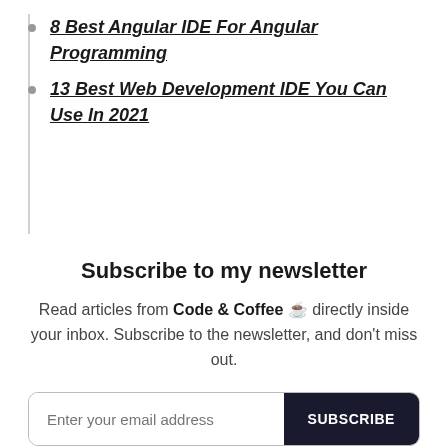8 Best Angular IDE For Angular Programming
13 Best Web Development IDE You Can Use In 2021
Subscribe to my newsletter
Read articles from Code & Coffee ☕ directly inside your inbox. Subscribe to the newsletter, and don't miss out.